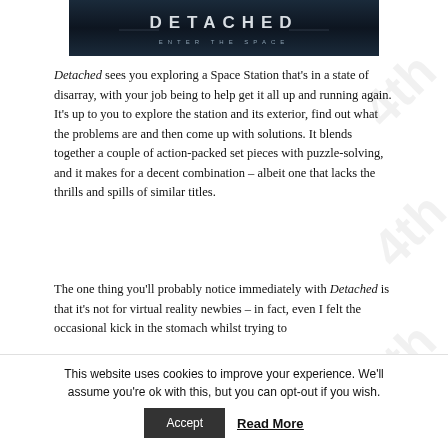[Figure (photo): Movie poster/banner for 'DETACHED – ENTER THE SPACE' with dark blue/grey space-themed background and stylized title text.]
Detached sees you exploring a Space Station that's in a state of disarray, with your job being to help get it all up and running again. It's up to you to explore the station and its exterior, find out what the problems are and then come up with solutions. It blends together a couple of action-packed set pieces with puzzle-solving, and it makes for a decent combination – albeit one that lacks the thrills and spills of similar titles.
The one thing you'll probably notice immediately with Detached is that it's not for virtual reality newbies – in fact, even I felt the occasional kick in the stomach whilst trying to
This website uses cookies to improve your experience. We'll assume you're ok with this, but you can opt-out if you wish. Accept Read More